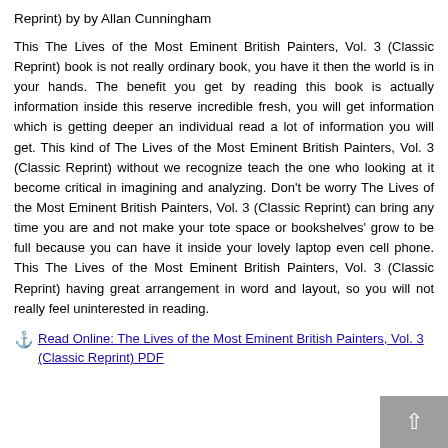Reprint) by by Allan Cunningham
This The Lives of the Most Eminent British Painters, Vol. 3 (Classic Reprint) book is not really ordinary book, you have it then the world is in your hands. The benefit you get by reading this book is actually information inside this reserve incredible fresh, you will get information which is getting deeper an individual read a lot of information you will get. This kind of The Lives of the Most Eminent British Painters, Vol. 3 (Classic Reprint) without we recognize teach the one who looking at it become critical in imagining and analyzing. Don't be worry The Lives of the Most Eminent British Painters, Vol. 3 (Classic Reprint) can bring any time you are and not make your tote space or bookshelves' grow to be full because you can have it inside your lovely laptop even cell phone. This The Lives of the Most Eminent British Painters, Vol. 3 (Classic Reprint) having great arrangement in word and layout, so you will not really feel uninterested in reading.
Read Online: The Lives of the Most Eminent British Painters, Vol. 3 (Classic Reprint) PDF